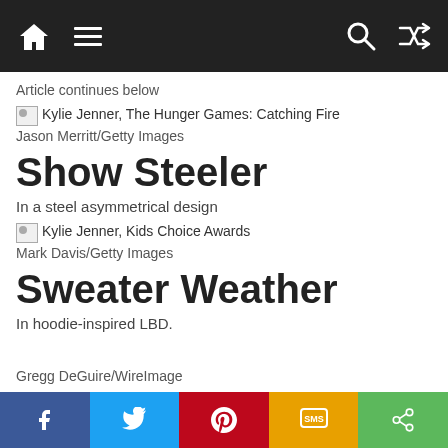Navigation bar with home, menu, search, and shuffle icons
Article continues below
[Figure (photo): Kylie Jenner, The Hunger Games: Catching Fire — broken image placeholder]
Jason Merritt/Getty Images
Show Steeler
In a steel asymmetrical design
[Figure (photo): Kylie Jenner, Kids Choice Awards — broken image placeholder]
Mark Davis/Getty Images
Sweater Weather
In hoodie-inspired LBD.
Gregg DeGuire/WireImage
Liquid Gold
Share bar: Facebook, Twitter, Pinterest, SMS, Share